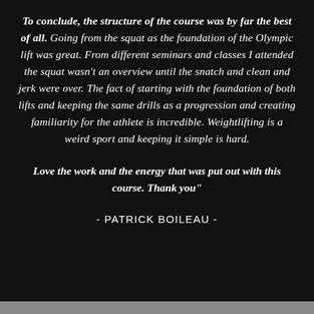To conclude, the structure of the course was by far the best of all. Going from the squat as the foundation of the Olympic lift was great. From different seminars and classes I attended the squat wasn't an overview until the snatch and clean and jerk were over. The fact of starting with the foundation of both lifts and keeping the same drills as a progression and creating familiarity for the athlete is incredible. Weightlifting is a weird sport and keeping it simple is hard.
Love the work and the energy that was put out with this course. Thank you"
- PATRICK BOILEAU -